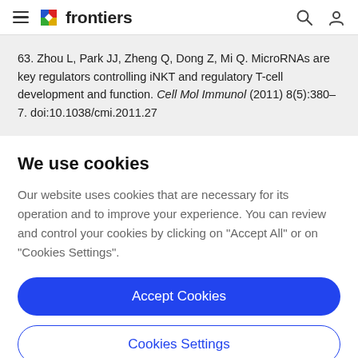frontiers (navigation bar with hamburger menu, logo, search and user icons)
63. Zhou L, Park JJ, Zheng Q, Dong Z, Mi Q. MicroRNAs are key regulators controlling iNKT and regulatory T-cell development and function. Cell Mol Immunol (2011) 8(5):380–7. doi:10.1038/cmi.2011.27
We use cookies
Our website uses cookies that are necessary for its operation and to improve your experience. You can review and control your cookies by clicking on "Accept All" or on "Cookies Settings".
Accept Cookies
Cookies Settings